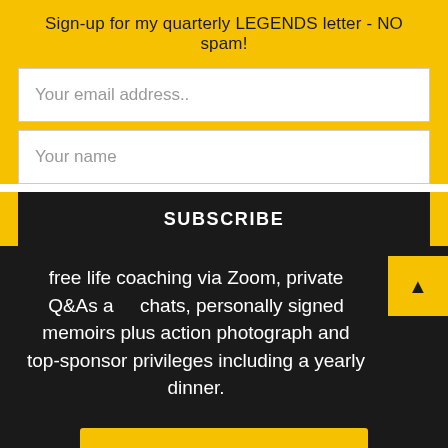Sign-up for my quarterly LEGENDS letter - NO spam!
Your email address..
Your name
SUBSCRIBE
free life coaching via Zoom, private Q&As and chats, personally signed memoirs plus action photograph and top-sponsor privileges including a yearly dinner.
VISIT MY PATREON